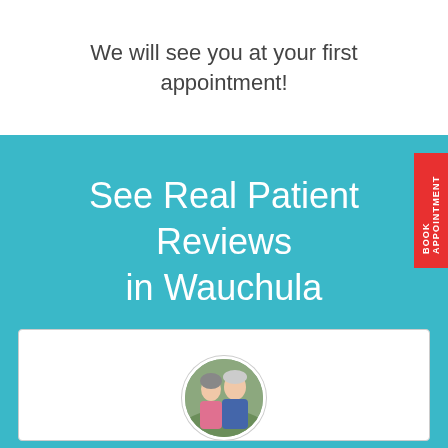We will see you at your first appointment!
See Real Patient Reviews in Wauchula
[Figure (photo): A circular avatar photo showing an older couple, partially visible at the bottom of the teal section within a white review card.]
BOOK APPOINTMENT